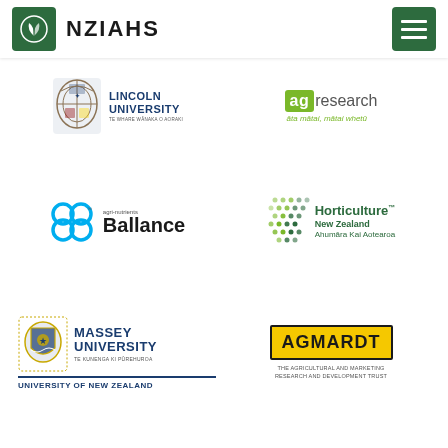NZIAHS
[Figure (logo): Lincoln University logo with crest and text 'LINCOLN UNIVERSITY Te Whare Wānaka o Aoraki']
[Figure (logo): AgResearch logo - green square with 'ag' text and 'research āta mātai, mātai whetū']
[Figure (logo): Ballance agri-nutrients logo with blue circles and bold black text]
[Figure (logo): Horticulture New Zealand Ahumāra Kai Aotearoa logo with green dots pattern]
[Figure (logo): Massey University logo - University of New Zealand with crest]
[Figure (logo): AGMARDT logo - The Agricultural and Marketing Research and Development Trust]